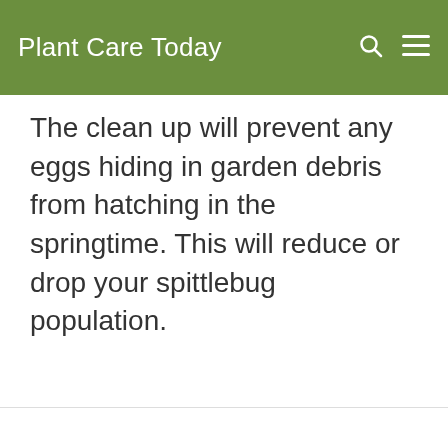Plant Care Today
The clean up will prevent any eggs hiding in garden debris from hatching in the springtime. This will reduce or drop your spittlebug population.